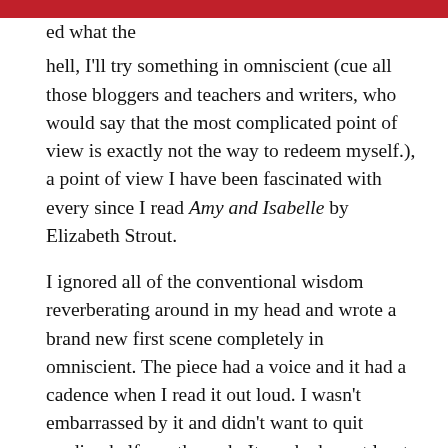ed what the
hell, I'll try something in omniscient (cue all those bloggers and teachers and writers, who would say that the most complicated point of view is exactly not the way to redeem myself.), a point of view I have been fascinated with every since I read Amy and Isabelle by Elizabeth Strout.
I ignored all of the conventional wisdom reverberating around in my head and wrote a brand new first scene completely in omniscient. The piece had a voice and it had a cadence when I read it out loud. I wasn't embarrassed by it and didn't want to quit reading halfway through. It worked, or at least,